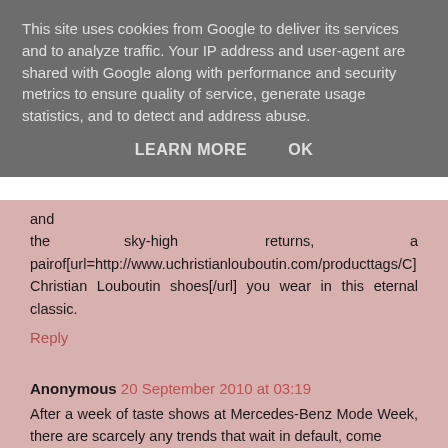This site uses cookies from Google to deliver its services and to analyze traffic. Your IP address and user-agent are shared with Google along with performance and security metrics to ensure quality of service, generate usage statistics, and to detect and address abuse.
LEARN MORE    OK
and the sky-high returns, a pairof[url=http://www.uchristianlouboutin.com/producttags/C] Christian Louboutin shoes[/url] you wear in this eternal classic.
Reply
Anonymous 20 September 2010 at 03:19
After a week of taste shows at Mercedes-Benz Mode Week, there are scarcely any trends that wait in default, come up to b become them[url=http://www.lcfshop.com]:UGG boot[/url]s and titillating